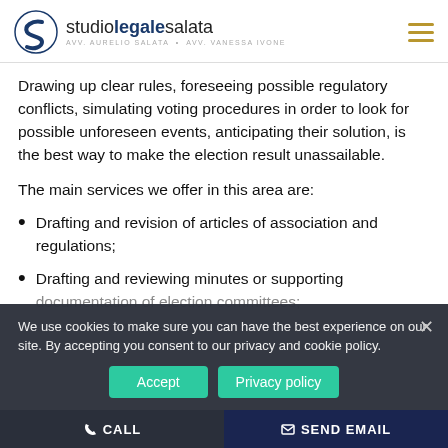studio legale salata — AVV. AURELIO SALATA · AVV. VANESSA IVONE
Drawing up clear rules, foreseeing possible regulatory conflicts, simulating voting procedures in order to look for possible unforeseen events, anticipating their solution, is the best way to make the election result unassailable.
The main services we offer in this area are:
Drafting and revision of articles of association and regulations;
Drafting and reviewing minutes or supporting documentation of election committees;
We use cookies to make sure you can have the best experience on our site. By accepting you consent to our privacy and cookie policy.
CALL   SEND EMAIL